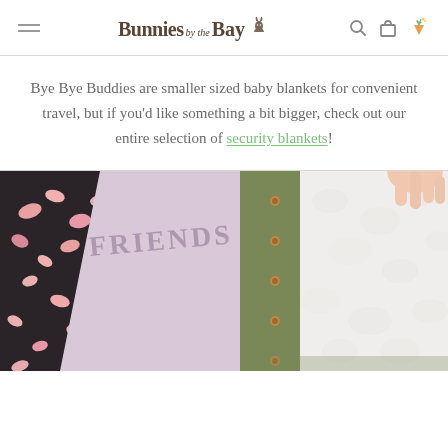Bunnies by the Bay
Bye Bye Buddies are smaller sized baby blankets for convenient travel, but if you'd like something a bit bigger, check out our entire selection of security blankets!
[Figure (photo): Close-up photo of baby blankets including a lavender blanket with 'FRIENDS' text, an olive green textured blanket with copper rivets, and a white fluffy blanket. A hand is visible in the upper right corner.]